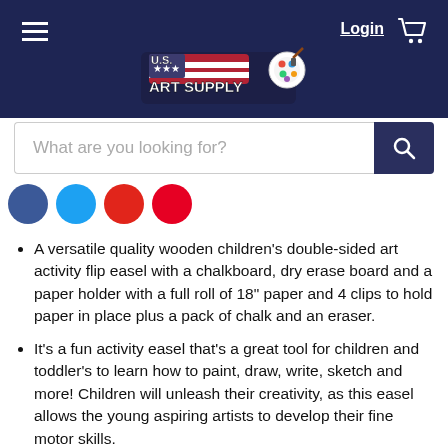[Figure (screenshot): Dark navy header bar with hamburger menu icon on left, Login link and shopping cart icon on right]
[Figure (logo): U.S. Art Supply logo with American flag and paint palette design, centered in header]
[Figure (screenshot): Search bar with placeholder text 'What are you looking for?' and blue search button with magnifying glass]
[Figure (infographic): Row of four social media icon circles: Facebook (blue), Twitter (light blue), YouTube (red), Pinterest (pink/red)]
A versatile quality wooden children's double-sided art activity flip easel with a chalkboard, dry erase board and a paper holder with a full roll of 18" paper and 4 clips to hold paper in place plus a pack of chalk and an eraser.
It's a fun activity easel that's a great tool for children and toddler's to learn how to paint, draw, write, sketch and more! Children will unleash their creativity, as this easel allows the young aspiring artists to develop their fine motor skills.
The shelf tray has 5 no-spill paint cups to prevent spills and splatters while the children enjoy painting. Includes 3 large storage bins and a shelf tray for keeping chalk, erasers, paint, brushes, pencils, markers, and other essential art supplies within easy reach.